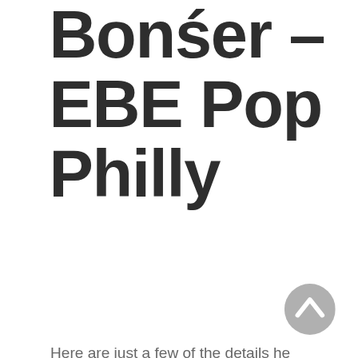Bonser – EBE Pop Philly
Here are just a few of the details he shared with us.
[Figure (other): Teal/mint colored email button (pill-shaped toggle with envelope icon) in the top-right area]
Q: Who is your hero?
Batman, obviously!
[Figure (other): Gray circular scroll-to-top arrow button in the bottom right corner]